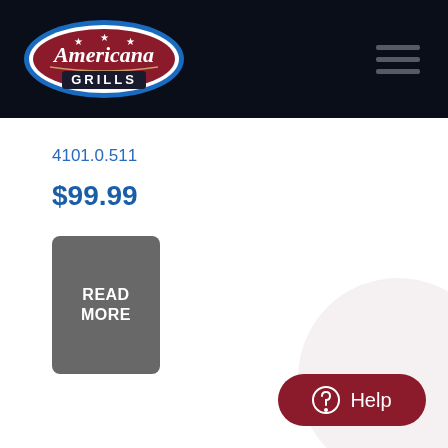[Figure (logo): Americana Grills logo — red oval badge with stars and cursive text on dark navy header bar]
4101.0.511
$99.99
READ MORE
Help